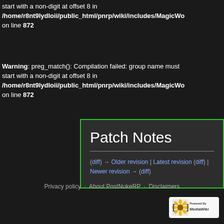start with a non-digit at offset 8 in /home/r8nt9lydIoii/public_html/pnrp/wiki/includes/MagicWo on line 872
Warning: preg_match(): Compilation failed: group name must start with a non-digit at offset 8 in /home/r8nt9lydIoii/public_html/pnrp/wiki/includes/MagicWo on line 872
Patch Notes
(diff) → Older revision | Latest revision (diff) | Newer revision → (diff)
Privacy policy · About PostNukeRP · Disclaimers